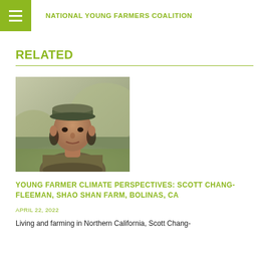NATIONAL YOUNG FARMERS COALITION
RELATED
[Figure (photo): Portrait photo of a young man wearing a cap and plaid shirt outdoors, Scott Chang-Fleeman]
YOUNG FARMER CLIMATE PERSPECTIVES: SCOTT CHANG-FLEEMAN, SHAO SHAN FARM, BOLINAS, CA
APRIL 22, 2022
Living and farming in Northern California, Scott Chang-